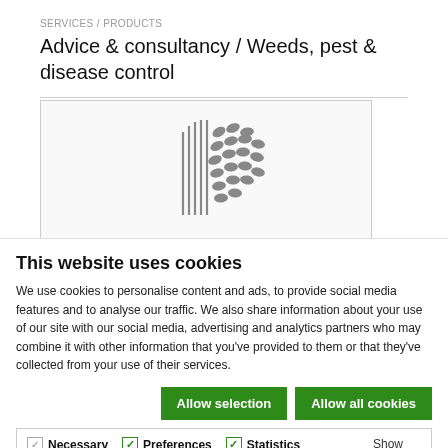SERVICES / PRODUCTS
Advice & consultancy / Weeds, pest & disease control
[Figure (logo): Stylized tree logo in gray, composed of vertical lines on the left and leaf/seed shapes on the right, forming a tree silhouette]
This website uses cookies
We use cookies to personalise content and ads, to provide social media features and to analyse our traffic. We also share information about your use of our site with our social media, advertising and analytics partners who may combine it with other information that you've provided to them or that they've collected from your use of their services.
Allow selection | Allow all cookies
Necessary | Preferences | Statistics | Marketing | Show details